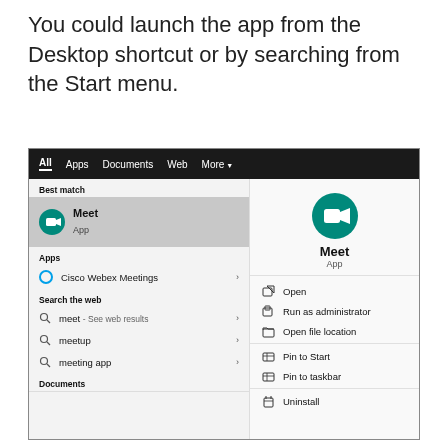You could launch the app from the Desktop shortcut or by searching from the Start menu.
[Figure (screenshot): Windows 10 Start menu search results for 'Meet', showing Best match: Meet App, Apps: Cisco Webex Meetings, Search the web: meet - See web results, meetup, meeting app, Documents section, and right panel with Meet app icon, name, and context menu options: Open, Run as administrator, Open file location, Pin to Start, Pin to taskbar, Uninstall]